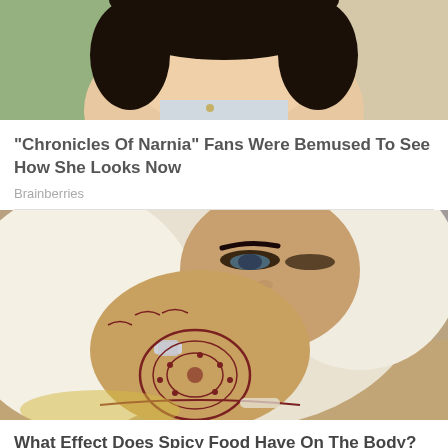[Figure (photo): Close-up photo of a young woman with dark curly/wavy bob hair, smiling, against a green and beige background]
"Chronicles Of Narnia" Fans Were Bemused To See How She Looks Now
Brainberries
[Figure (photo): Close-up photo of a woman wearing a white hijab, holding her henna-decorated hand up to her face, with a ring visible, detailed mehndi patterns on her hand]
What Effect Does Spicy Food Have On The Body?
Brainberries